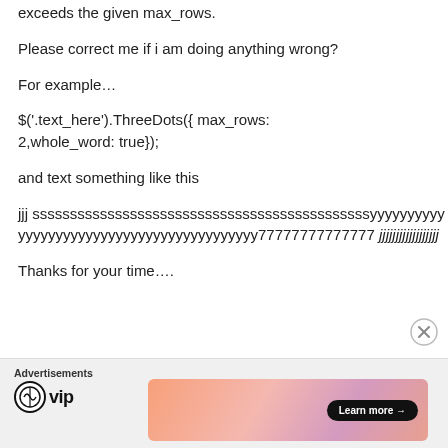exceeds the given max_rows.
Please correct me if i am doing anything wrong?
For example…
$('.text_here').ThreeDots({ max_rows: 2,whole_word: true});
and text something like this
jjj sssssssssssssssssssssssssssssssssssssssssssssyyyyyyyyyyyyyyyyyyyyyyyyyyyyyyyyyyyyyyyyyy77777777777777 jjjjjjjjjjjjjjjjjj
Thanks for your time….
[Figure (infographic): Advertisement bar with WordPress VIP logo and a gradient banner with 'Learn more' button]